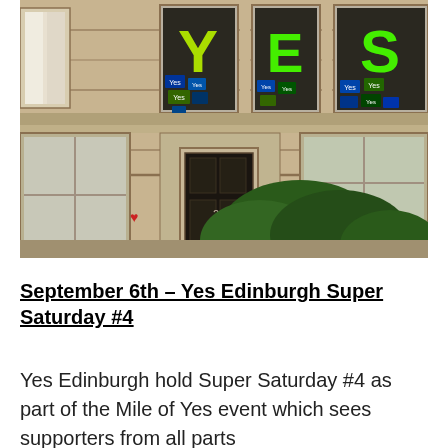[Figure (photo): Photograph of a sandstone tenement building facade with large green letters Y, E, S displayed in upper windows. Multiple Yes campaign posters are visible in the windows. The building has a doorway numbered 26, flowering plants in the lower windows, and trees/shrubs in front of the building.]
September 6th – Yes Edinburgh Super Saturday #4
Yes Edinburgh hold Super Saturday #4 as part of the Mile of Yes event which sees supporters from all parts